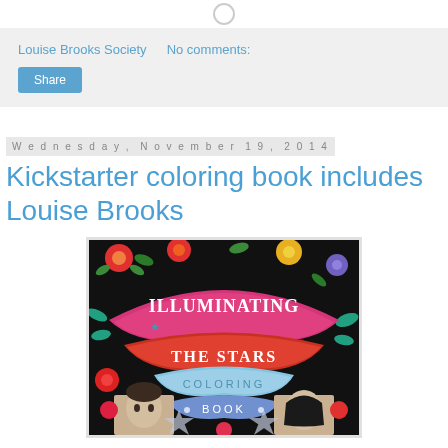[Figure (other): Loading spinner icon]
Louise Brooks Society   No comments:
Share
Wednesday, November 19, 2014
Kickstarter coloring book includes Louise Brooks
[Figure (photo): Cover of 'Illuminating the Stars Coloring Book' showing colorful folk-art style illustration with flowers, stars, and figures]